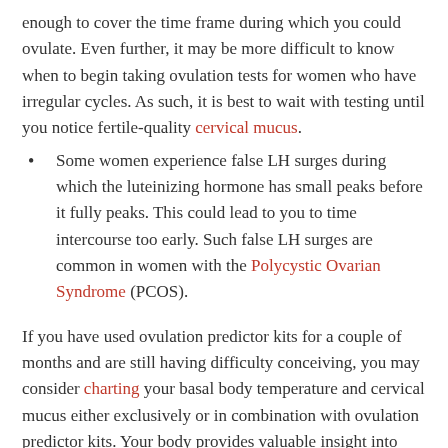enough to cover the time frame during which you could ovulate. Even further, it may be more difficult to know when to begin taking ovulation tests for women who have irregular cycles. As such, it is best to wait with testing until you notice fertile-quality cervical mucus.
Some women experience false LH surges during which the luteinizing hormone has small peaks before it fully peaks. This could lead to you to time intercourse too early. Such false LH surges are common in women with the Polycystic Ovarian Syndrome (PCOS).
If you have used ovulation predictor kits for a couple of months and are still having difficulty conceiving, you may consider charting your basal body temperature and cervical mucus either exclusively or in combination with ovulation predictor kits. Your body provides valuable insight into your fertility. An awareness of these signs can promote your efforts to conceive.